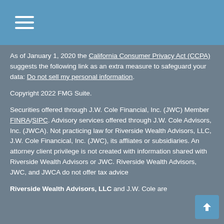Navigation menu icon
As of January 1, 2020 the California Consumer Privacy Act (CCPA) suggests the following link as an extra measure to safeguard your data: Do not sell my personal information.
Copyright 2022 FMG Suite.
Securities offered through J.W. Cole Financial, Inc. (JWC) Member FINRA/SIPC. Advisory services offered through J.W. Cole Advisors, Inc. (JWCA). Not practicing law for Riverside Wealth Advisors, LLC, J.W. Cole Financical, Inc. (JWC), its affliates or subsidiaries. An attorney client privilege is not created with information shared with Riverside Wealth Advisors or JWC. Riverside Wealth Advisors, JWC, and JWCA do not offer tax advice
Riverside Wealth Advisors, LLC and J.W. Cole are